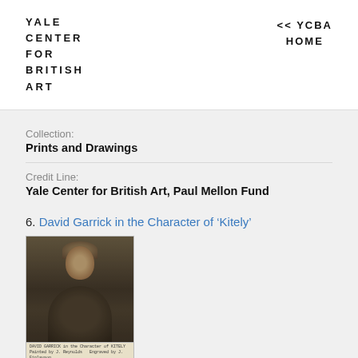YALE CENTER FOR BRITISH ART
<< YCBA HOME
Collection:
Prints and Drawings
Credit Line:
Yale Center for British Art, Paul Mellon Fund
6. David Garrick in the Character of 'Kitely'
[Figure (photo): Mezzotint portrait print of David Garrick in the character of Kitely, shown as a dark tonal engraving with a figure in 18th century costume with lace collar, with a caption bar at the bottom containing printed text.]